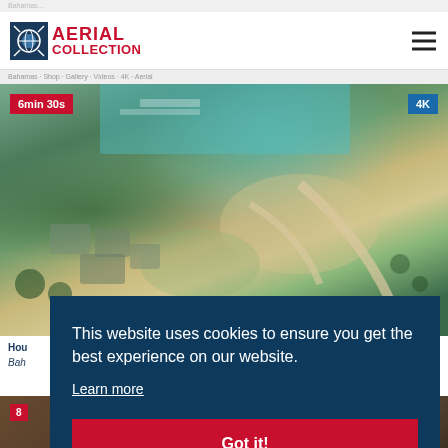Bahamas...
[Figure (logo): Aerial Collection logo with globe icon and red text reading AERIAL COLLECTION]
[Figure (photo): Aerial photograph of a resort complex in the Bahamas showing buildings, golf course, marina with turquoise water, and sandy paths. Duration badge: 6min 30s, quality badge: 4K]
Hou... Bah...
[Figure (photo): Partial view of a second aerial video thumbnail. Duration badge: 8...]
This website uses cookies to ensure you get the best experience on our website.
Learn more
Got it!